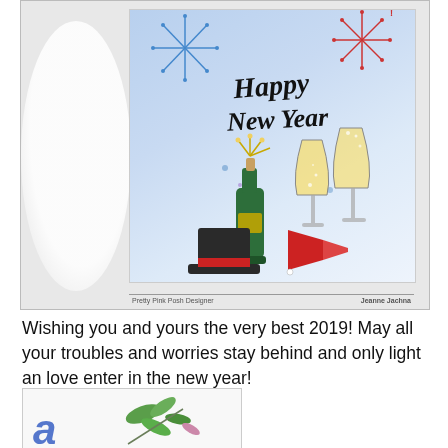[Figure (photo): A New Year greeting card showing 'Happy New Year' in script lettering with fireworks in the background, a champagne bottle popping, two champagne flutes, a top hat, and a party horn. Footer reads 'Pretty Pink Posh Designer' on left and 'Jeanne Jachna' on right.]
Wishing you and yours the very best 2019! May all your troubles and worries stay behind and only light an love enter in the new year!
[Figure (photo): Partial view of a card or image showing green botanical/leaf illustration and partial view of another element at bottom.]